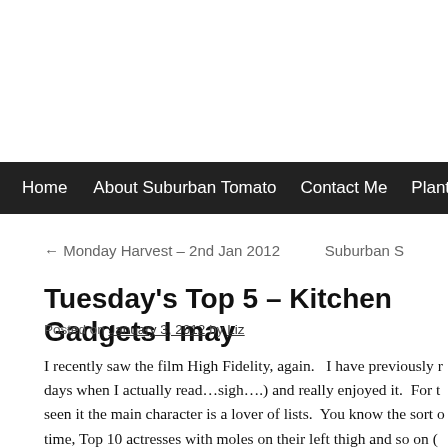Home | About Suburban Tomato | Contact Me | Planting Notes
← Monday Harvest – 2nd Jan 2012    Suburban S
Tuesday's Top 5 – Kitchen Gadgets I may
Posted on January 3, 2012 by Liz
I recently saw the film High Fidelity, again.   I have previously read...sigh....) and really enjoyed it.  For those who haven't seen it the main character is a lover of lists.  You know the sort of thing, Top 10 actresses with moles on their left thigh and so on (actually I can't remember what the lists were precisely, only that there were lists – that's the point here anyway.)  Like the characters in High Fidelity I too li...too many of their other attributes although I suspect we are all...